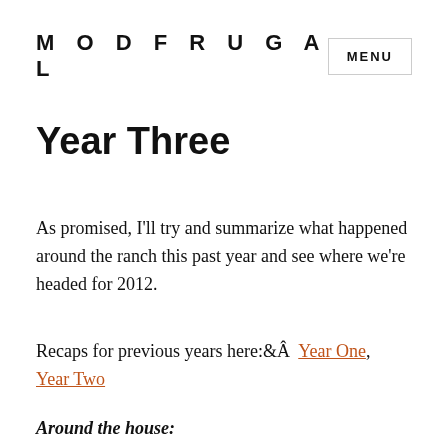MODFRUGAL
Year Three
As promised, I'll try and summarize what happened around the ranch this past year and see where we're headed for 2012.
Recaps for previous years here:Â  Year One, Year Two
Around the house: